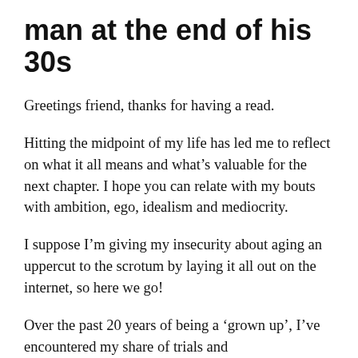man at the end of his 30s
Greetings friend, thanks for having a read.
Hitting the midpoint of my life has led me to reflect on what it all means and what’s valuable for the next chapter. I hope you can relate with my bouts with ambition, ego, idealism and mediocrity.
I suppose I’m giving my insecurity about aging an uppercut to the scrotum by laying it all out on the internet, so here we go!
Over the past 20 years of being a ‘grown up’, I’ve encountered my share of trials and